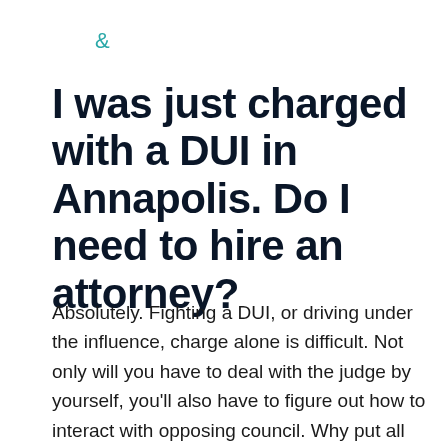&
I was just charged with a DUI in Annapolis. Do I need to hire an attorney?
Absolutely. Fighting a DUI, or driving under the influence, charge alone is difficult. Not only will you have to deal with the judge by yourself, you'll also have to figure out how to interact with opposing council. Why put all that stress on yourself? Instead, hire an Annapolis DUI attorney and you may increase your odds of